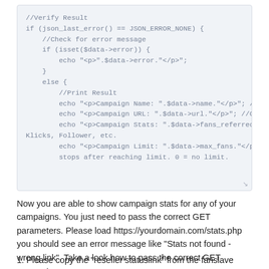[Figure (screenshot): Code block showing PHP code snippet with //Verify Result, JSON error check, isset error check, else block printing Campaign Name, URL, Stats, Limit]
Now you are able to show campaign stats for any of your campaigns. You just need to pass the correct GET parameters. Please load https://yourdomain.com/stats.php you should see an error message like 'Stats not found - wrong link'. Take a look how to pass the correct GET parameters:
1. Please copy the 'reseller statuslink' from the fanslave stats area.